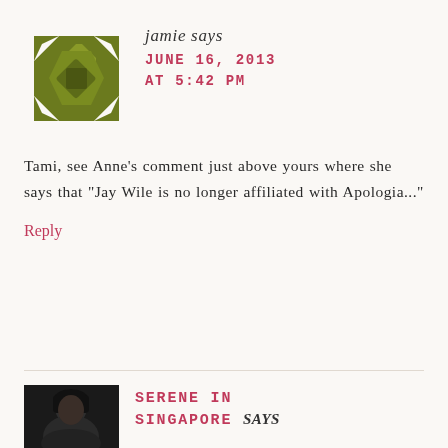[Figure (illustration): Green geometric star/quilt pattern avatar for user 'jamie']
jamie says
JUNE 16, 2013 AT 5:42 PM
Tami, see Anne’s comment just above yours where she says that “Jay Wile is no longer affiliated with Apologia...”
Reply
[Figure (photo): Dark photo of a person, avatar for 'Serene in Singapore']
SERENE IN SINGAPORE says